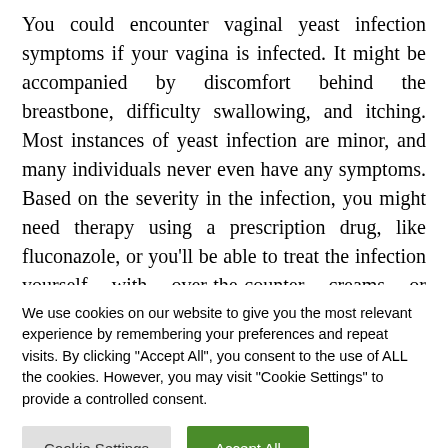You could encounter vaginal yeast infection symptoms if your vagina is infected. It might be accompanied by discomfort behind the breastbone, difficulty swallowing, and itching. Most instances of yeast infection are minor, and many individuals never even have any symptoms. Based on the severity in the infection, you might need therapy using a prescription drug, like fluconazole, or you'll be able to treat the infection yourself with over-the-counter creams or suppositories.
We use cookies on our website to give you the most relevant experience by remembering your preferences and repeat visits. By clicking "Accept All", you consent to the use of ALL the cookies. However, you may visit "Cookie Settings" to provide a controlled consent.